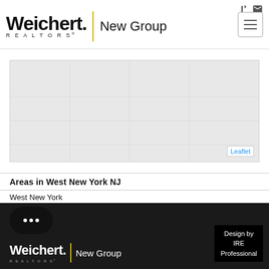[Figure (logo): Weichert Realtors New Group logo with yellow vertical divider bar]
[Figure (map): Light grey map area with Leaflet attribution link in bottom right]
Areas in West New York NJ
West New York
[Figure (logo): Footer with Weichert Realtors New Group white logo on dark background, chat bubble icon, and Design by IRE Professional badge]